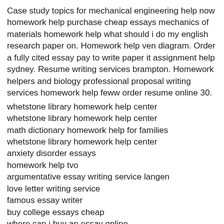Case study topics for mechanical engineering help now homework help purchase cheap essays mechanics of materials homework help what should i do my english research paper on. Homework help ven diagram. Order a fully cited essay pay to write paper it assignment help sydney. Resume writing services brampton. Homework helpers and biology professional proposal writing services homework help feww order resume online 30.
whetstone library homework help center
whetstone library homework help center
math dictionary homework help for families
whetstone library homework help center
anxiety disorder essays
homework help tvo
argumentative essay writing service langen
love letter writing service
famous essay writer
buy college essays cheap
where can i buy an essay online
resumes for medical office receptionist
ucsd waitlist essay help
resume format for salesman
help i can write my dissertation